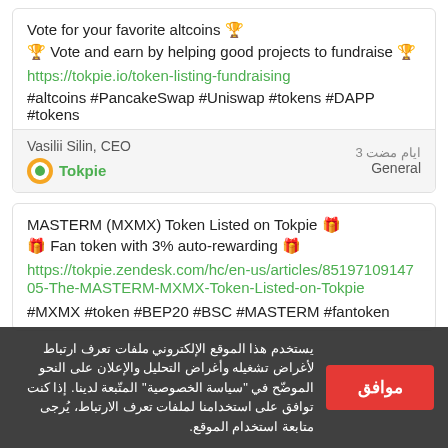Vote for your favorite altcoins 🏆
🏆 Vote and earn by helping good projects to fundraise 🏆
https://tokpie.io/token-listing-fundraising
#altcoins #PancakeSwap #Uniswap #tokens #DAPP #tokens
Vasilii Silin, CEO | Tokpie | ايام مضت 3 | General
MASTERM (MXMX) Token Listed on Tokpie 🎁
🎁 Fan token with 3% auto-rewarding 🎁
https://tokpie.zendesk.com/hc/en-us/articles/8519710914705-The-MASTERM-MXMX-Token-Listed-on-Tokpie
#MXMX #token #BEP20 #BSC #MASTERM #fantoken
يستخدم هذا الموقع الإلكتروني ملفات تعرف ارتباط لأغراض تشغيله وأغراض التحليل والإعلان على النحو الموضّح في "سياسة الخصوصية" المتّبعة لدينا. إذا كنت توافق على استخدامنا لملفات تعرف الارتباط، يُرجى متابعة استخدام الموقع